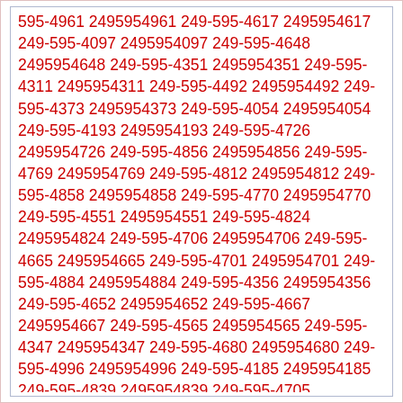595-4961 2495954961 249-595-4617 2495954617 249-595-4097 2495954097 249-595-4648 2495954648 249-595-4351 2495954351 249-595-4311 2495954311 249-595-4492 2495954492 249-595-4373 2495954373 249-595-4054 2495954054 249-595-4193 2495954193 249-595-4726 2495954726 249-595-4856 2495954856 249-595-4769 2495954769 249-595-4812 2495954812 249-595-4858 2495954858 249-595-4770 2495954770 249-595-4551 2495954551 249-595-4824 2495954824 249-595-4706 2495954706 249-595-4665 2495954665 249-595-4701 2495954701 249-595-4884 2495954884 249-595-4356 2495954356 249-595-4652 2495954652 249-595-4667 2495954667 249-595-4565 2495954565 249-595-4347 2495954347 249-595-4680 2495954680 249-595-4996 2495954996 249-595-4185 2495954185 249-595-4839 2495954839 249-595-4705 2495954705 249-595-4851 2495954851 249-595-4174 2495954174 249-595-4312